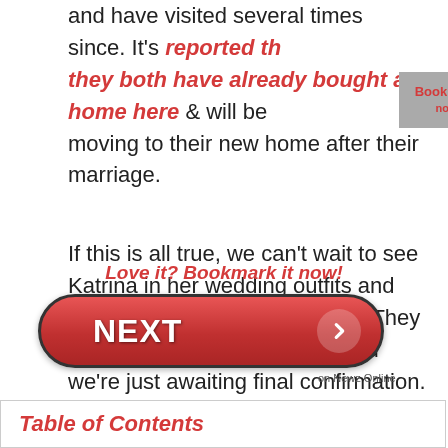and have visited several times since. It's reported that they both have already bought a home here & will be moving to their new home after their marriage.
If this is all true, we can't wait to see Katrina in her wedding outfits and the adorable couple's pictures. They definitely look cute together and we're just awaiting final confirmation.
Love it? Bookmark it now!
[Figure (other): NEXT button with arrow, red pill-shaped button with white text NEXT and a white arrow circle on the right, with 'on Newz Online' text below]
Table of Contents